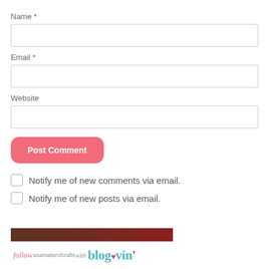Name *
Email *
Website
Post Comment
Notify me of new comments via email.
Notify me of new posts via email.
[Figure (screenshot): Bloglovin follow banner with text 'follow asamatterofcrafts with bloglovin']